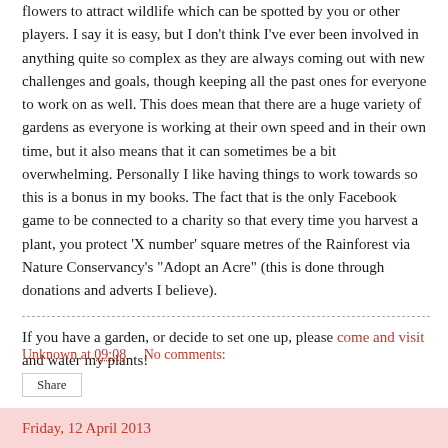flowers to attract wildlife which can be spotted by you or other players.  I say it is easy, but I don't think I've ever been involved in anything quite so complex as they are always coming out with new challenges and goals, though keeping all the past ones for everyone to work on as well.  This does mean that there are a huge variety of gardens as everyone is working at their own speed and in their own time, but it also means that it can sometimes be a bit overwhelming.  Personally I like having things to work towards so this is a bonus in my books.  The fact that is the only Facebook game to be connected to a charity so that every time you harvest a plant, you protect 'X number' square metres of the Rainforest via Nature Conservancy's "Adopt an Acre"  (this is done through donations and adverts I believe).
If you have a garden, or decide to set one up, please come and visit and water my plants!
Unknown at 09:08    No comments:
Share
Friday, 12 April 2013